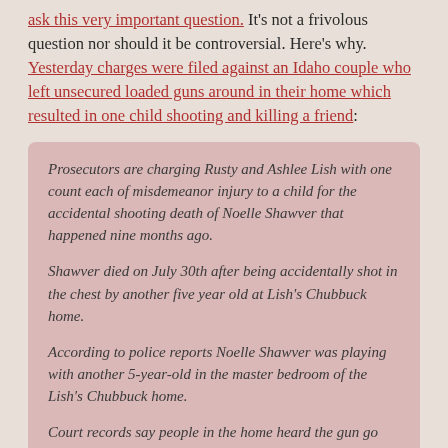ask this very important question. It's not a frivolous question nor should it be controversial. Here's why. Yesterday charges were filed against an Idaho couple who left unsecured loaded guns around in their home which resulted in one child shooting and killing a friend:
Prosecutors are charging Rusty and Ashlee Lish with one count each of misdemeanor injury to a child for the accidental shooting death of Noelle Shawver that happened nine months ago.
Shawver died on July 30th after being accidentally shot in the chest by another five year old at Lish's Chubbuck home.
According to police reports Noelle Shawver was playing with another 5-year-old in the master bedroom of the Lish's Chubbuck home.
Court records say people in the home heard the gun go